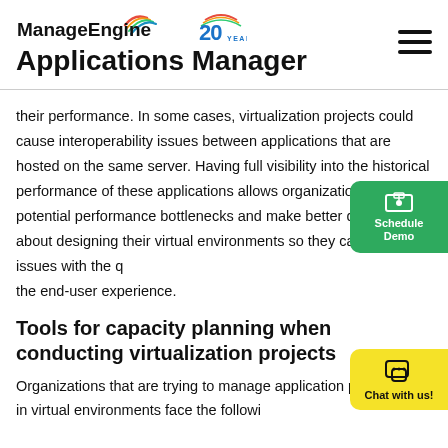ManageEngine 20 YEARS — Applications Manager
their performance. In some cases, virtualization projects could cause interoperability issues between applications that are hosted on the same server. Having full visibility into the historical performance of these applications allows organizations to predict potential performance bottlenecks and make better decisions about designing their virtual environments so they can avoid any issues with the quality of the end-user experience.
Tools for capacity planning when conducting virtualization projects
Organizations that are trying to manage application performance in virtual environments face the following